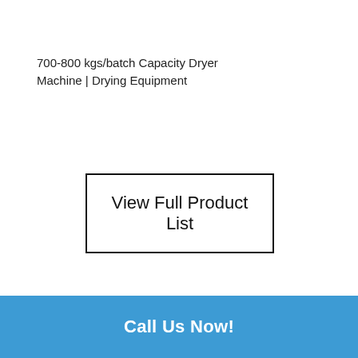700-800 kgs/batch Capacity Dryer Machine | Drying Equipment
[Figure (other): Button with border reading 'View Full Product List']
Call Us Now!